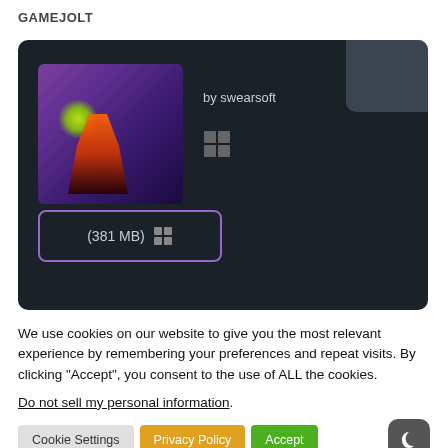GAMEJOLT
[Figure (screenshot): Game card on GameJolt showing a game thumbnail (purple/dark scene with figure), 'by swearsoft' text, Windows icon, and a download button labeled '(381 MB)' with Windows icon, on a dark background. A grey box appears in the top-right corner.]
We use cookies on our website to give you the most relevant experience by remembering your preferences and repeat visits. By clicking “Accept”, you consent to the use of ALL the cookies.
Do not sell my personal information.
Cookie Settings   Privacy Policy   Accept